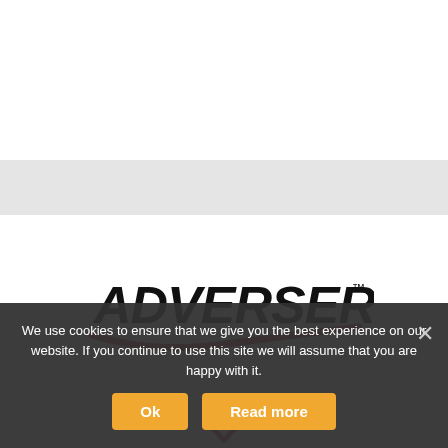[Figure (logo): ADVERSERVE logo with bold black italic text and a red swoosh underline, with TM mark]
[Figure (other): Red chevron/down-arrow icon]
We use cookies to ensure that we give you the best experience on our website. If you continue to use this site we will assume that you are happy with it.
Ok
Read more